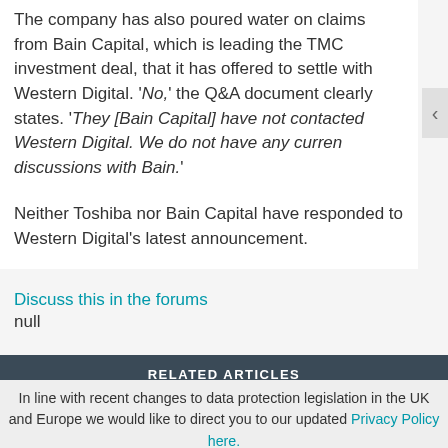The company has also poured water on claims from Bain Capital, which is leading the TMC investment deal, that it has offered to settle with Western Digital. 'No,' the Q&A document clearly states. 'They [Bain Capital] have not contacted Western Digital. We do not have any curren discussions with Bain.'
Neither Toshiba nor Bain Capital have responded to Western Digital's latest announcement.
Discuss this in the forums
null
RELATED ARTICLES
[Figure (photo): Teal/cyan colored abstract background image with grid-like pattern]
In line with recent changes to data protection legislation in the UK and Europe we would like to direct you to our updated Privacy Policy here.
Dismiss